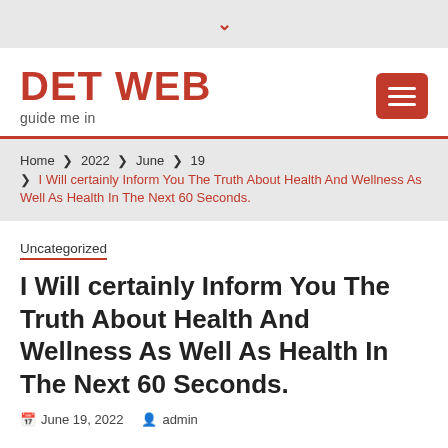▾
DET WEB
guide me in
Home ❯ 2022 ❯ June ❯ 19 ❯ I Will certainly Inform You The Truth About Health And Wellness As Well As Health In The Next 60 Seconds.
Uncategorized
I Will certainly Inform You The Truth About Health And Wellness As Well As Health In The Next 60 Seconds.
June 19, 2022  admin